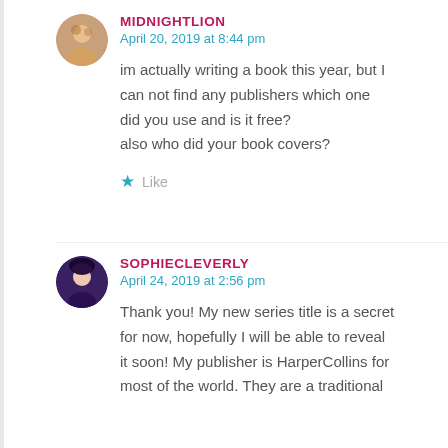MIDNIGHTLION
April 20, 2019 at 8:44 pm
im actually writing a book this year, but I can not find any publishers which one did you use and is it free?
also who did your book covers?
Like
SOPHIECLEVERLY
April 24, 2019 at 2:56 pm
Thank you! My new series title is a secret for now, hopefully I will be able to reveal it soon! My publisher is HarperCollins for most of the world. They are a traditional